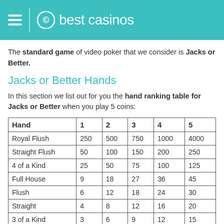best casinos
The standard game of video poker that we consider is Jacks or Better.
Jacks or Better Hands
In this section we list out for you the hand ranking table for Jacks or Better when you play 5 coins:
| Hand | 1 | 2 | 3 | 4 | 5 |
| --- | --- | --- | --- | --- | --- |
| Royal Flush | 250 | 500 | 750 | 1000 | 4000 |
| Straight Flush | 50 | 100 | 150 | 200 | 250 |
| 4 of a Kind | 25 | 50 | 75 | 100 | 125 |
| Full House | 9 | 18 | 27 | 36 | 45 |
| Flush | 6 | 12 | 18 | 24 | 30 |
| Straight | 4 | 8 | 12 | 16 | 20 |
| 3 of a Kind | 3 | 6 | 9 | 12 | 15 |